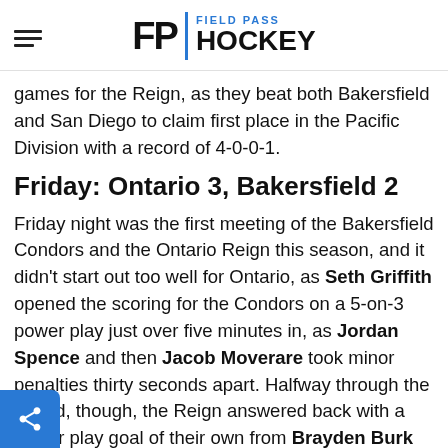FP | FIELD PASS HOCKEY
games for the Reign, as they beat both Bakersfield and San Diego to claim first place in the Pacific Division with a record of 4-0-0-1.
Friday: Ontario 3, Bakersfield 2
Friday night was the first meeting of the Bakersfield Condors and the Ontario Reign this season, and it didn't start out too well for Ontario, as Seth Griffith opened the scoring for the Condors on a 5-on-3 power play just over five minutes in, as Jordan Spence and then Jacob Moverare took minor penalties thirty seconds apart. Halfway through the period, though, the Reign answered back with a power play goal of their own from Brayden Burk...